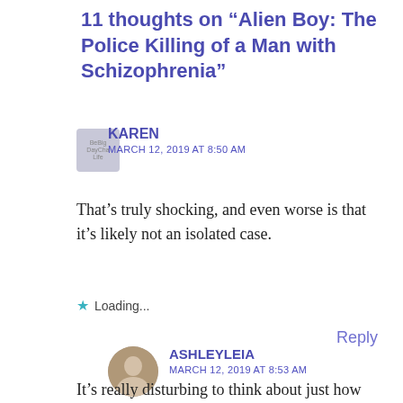11 thoughts on "Alien Boy: The Police Killing of a Man with Schizophrenia"
KAREN
MARCH 12, 2019 AT 8:50 AM
That’s truly shocking, and even worse is that it’s likely not an isolated case.
Loading...
Reply
ASHLEYLEIA
MARCH 12, 2019 AT 8:53 AM
It’s really disturbing to think about just how